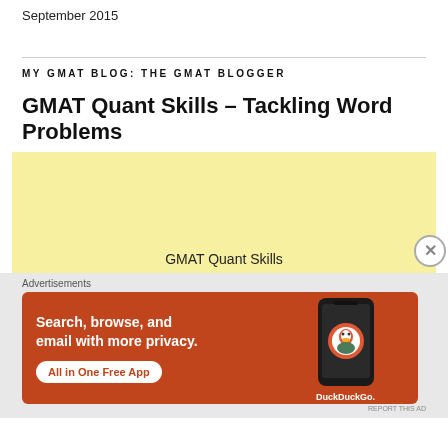September 2015
MY GMAT BLOG: THE GMAT BLOGGER
GMAT Quant Skills – Tackling Word Problems
[Figure (other): Yellow advertisement box with text 'GMAT Quant Skills' and a close (X) button]
[Figure (other): DuckDuckGo advertisement banner: 'Search, browse, and email with more privacy. All in One Free App' with phone image and DuckDuckGo logo on orange-red background]